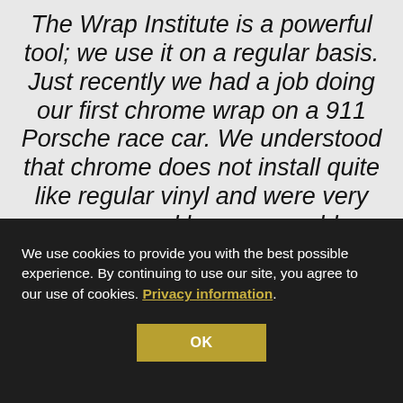The Wrap Institute is a powerful tool; we use it on a regular basis. Just recently we had a job doing our first chrome wrap on a 911 Porsche race car. We understood that chrome does not install quite like regular vinyl and were very concerned how we would complete
We use cookies to provide you with the best possible experience. By continuing to use our site, you agree to our use of cookies. Privacy information.